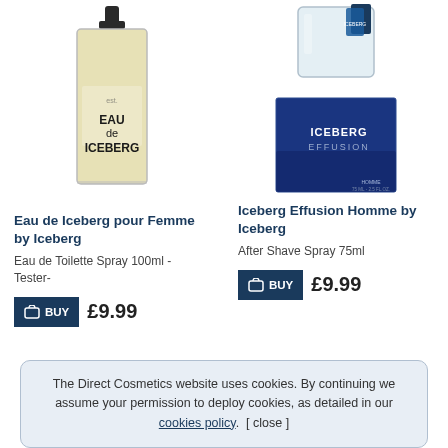[Figure (photo): Eau de Iceberg pour Femme perfume bottle - clear glass rectangular bottle with yellow/gold liquid and black spray cap]
[Figure (photo): Iceberg Effusion Homme - clear glass bottle and dark blue box with ICEBERG EFFUSION text]
Eau de Iceberg pour Femme by Iceberg
Eau de Toilette Spray 100ml - Tester-
Iceberg Effusion Homme by Iceberg
After Shave Spray 75ml
BUY £9.99
BUY £9.99
The Direct Cosmetics website uses cookies. By continuing we assume your permission to deploy cookies, as detailed in our cookies policy.  [ close ]